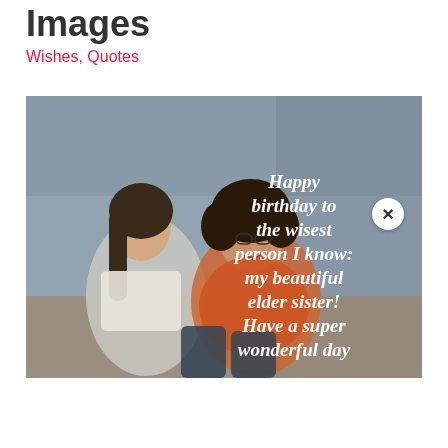Images
Wishes, Quotes
[Figure (photo): Two young women sitting together against a graffiti wall outdoors. One has curly hair and glasses wearing an orange top, the other has straight hair wearing a white top. Overlaid italic white text reads: 'Happy birthday to the wisest person I know: my beautiful elder sister! Have a super wonderful day']
×